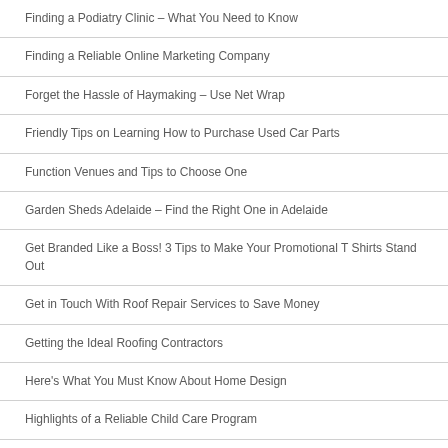Finding a Podiatry Clinic – What You Need to Know
Finding a Reliable Online Marketing Company
Forget the Hassle of Haymaking – Use Net Wrap
Friendly Tips on Learning How to Purchase Used Car Parts
Function Venues and Tips to Choose One
Garden Sheds Adelaide – Find the Right One in Adelaide
Get Branded Like a Boss! 3 Tips to Make Your Promotional T Shirts Stand Out
Get in Touch With Roof Repair Services to Save Money
Getting the Ideal Roofing Contractors
Here's What You Must Know About Home Design
Highlights of a Reliable Child Care Program
Hire Leading eCommerce Website Designers for the Best Results
Hiring a Landscape Designer Adelaide